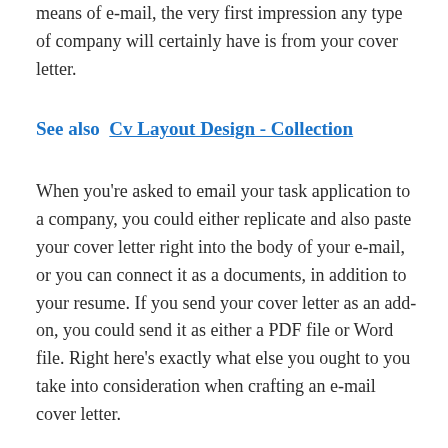means of e-mail, the very first impression any type of company will certainly have is from your cover letter.
See also  Cv Layout Design - Collection
When you're asked to email your task application to a company, you could either replicate and also paste your cover letter right into the body of your e-mail, or you can connect it as a documents, in addition to your resume. If you send your cover letter as an add-on, you could send it as either a PDF file or Word file. Right here's exactly what else you ought to you take into consideration when crafting an e-mail cover letter.